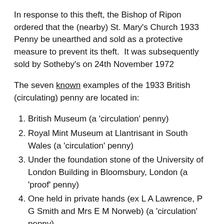In response to this theft, the Bishop of Ripon ordered that the (nearby) St. Mary's Church 1933 Penny be unearthed and sold as a protective measure to prevent its theft.  It was subsequently sold by Sotheby's on 24th November 1972
The seven known examples of the 1933 British (circulating) penny are located in:
British Museum (a ‘circulation’ penny)
Royal Mint Museum at Llantrisant in South Wales (a ‘circulation’ penny)
Under the foundation stone of the University of London Building in Bloomsbury, London (a ‘proof’ penny)
One held in private hands (ex L A Lawrence, P G Smith and Mrs E M Norweb) (a ‘circulation’ penny)
One held in private hands in the UK (ex Glendinings